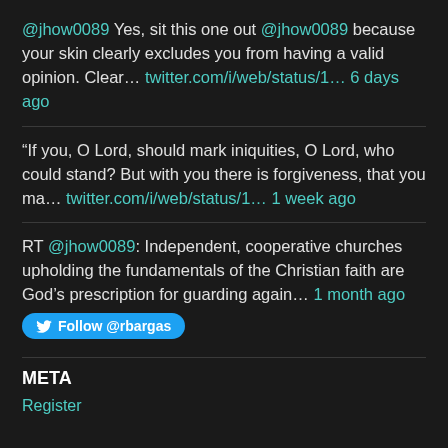@jhow0089 Yes, sit this one out @jhow0089 because your skin clearly excludes you from having a valid opinion. Clear… twitter.com/i/web/status/1… 6 days ago
“If you, O Lord, should mark iniquities, O Lord, who could stand? But with you there is forgiveness, that you ma… twitter.com/i/web/status/1… 1 week ago
RT @jhow0089: Independent, cooperative churches upholding the fundamentals of the Christian faith are God’s prescription for guarding again… 1 month ago
Follow @rbargas
META
Register